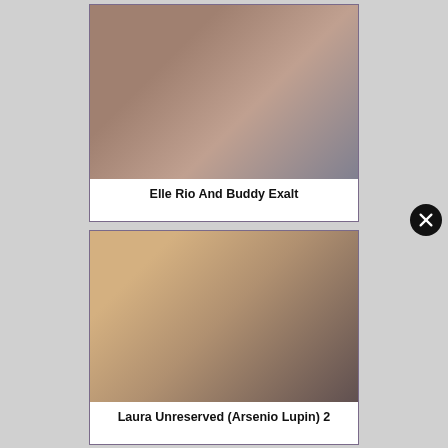[Figure (photo): Close-up photo of a woman with red fingernails]
Elle Rio And Buddy Exalt
[Figure (photo): Close-up photo of two men with short hair]
Laura Unreserved (Arsenio Lupin) 2